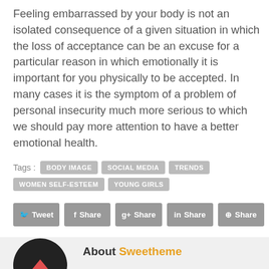Feeling embarrassed by your body is not an isolated consequence of a given situation in which the loss of acceptance can be an excuse for a particular reason in which emotionally it is important for you physically to be accepted. In many cases it is the symptom of a problem of personal insecurity much more serious to which we should pay more attention to have a better emotional health.
Tags : BODY IMAGE  SOCIAL MEDIA  TRENDS  WOMEN SELF-ESTEEM  YOUNG GIRLS
Tweet  Share  Share  Share  Share
About Sweetheme